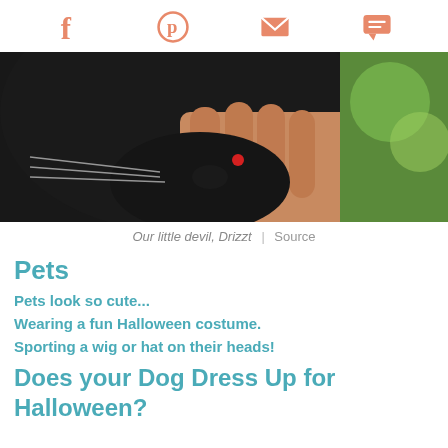[social icons: Facebook, Pinterest, Email, Chat]
[Figure (photo): Close-up photo of a black cat being held, with a small red devil horn visible, colorful background]
Our little devil, Drizzt  |  Source
Pets
Pets look so cute...
Wearing a fun Halloween costume.
Sporting a wig or hat on their heads!
Does your Dog Dress Up for Halloween?